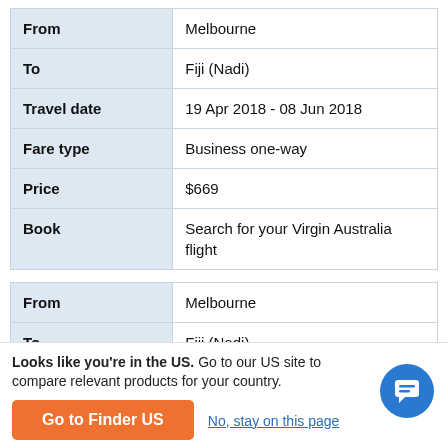|  |  |
| --- | --- |
| From | Melbourne |
| To | Fiji (Nadi) |
| Travel date | 19 Apr 2018 - 08 Jun 2018 |
| Fare type | Business one-way |
| Price | $669 |
| Book | Search for your Virgin Australia flight |
|  |  |
| --- | --- |
| From | Melbourne |
| To | Fiji (Nadi) |
| Travel date | 25 Jul 2018 - 15 Sep 2018 |
| Fare type | Business one-way |
Looks like you're in the US. Go to our US site to compare relevant products for your country.
Go to Finder US
No, stay on this page